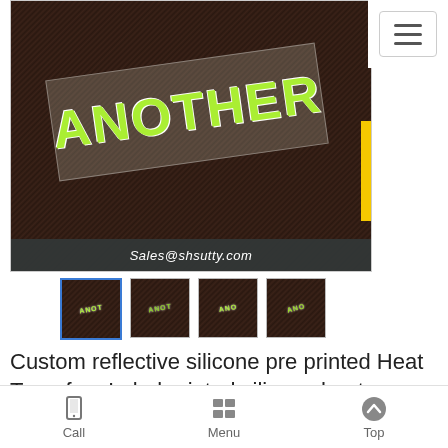[Figure (photo): Product photo showing a reflective silicone heat transfer label with 'ANOTHER' text in lime green on dark fabric background, with 'Sales@shsutty.com' caption bar at bottom]
[Figure (photo): Four thumbnail images of the same product — reflective silicone heat transfer labels on dark fabric]
Custom reflective silicone pre printed Heat Transfers Label printed silicone heat transfer care labels